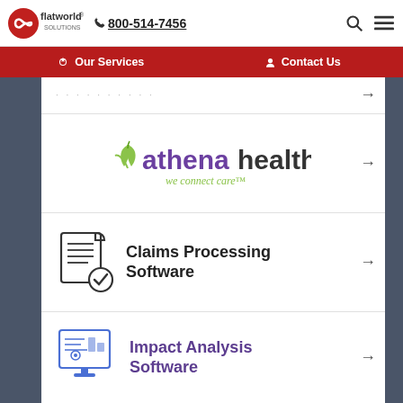[Figure (logo): Flatworld Solutions logo with infinity symbol]
800-514-7456
Our Services | Contact Us
[Figure (logo): Athena Health logo - athenahealth we connect care]
[Figure (illustration): Claims Processing Software icon with document and checkmark]
Claims Processing Software
[Figure (illustration): Impact Analysis Software icon with computer screen and charts]
Impact Analysis Software